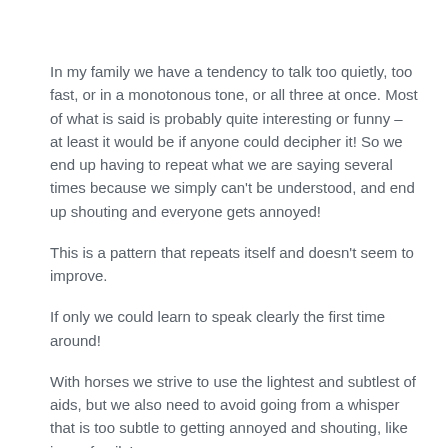In my family we have a tendency to talk too quietly, too fast, or in a monotonous tone, or all three at once. Most of what is said is probably quite interesting or funny – at least it would be if anyone could decipher it! So we end up having to repeat what we are saying several times because we simply can't be understood, and end up shouting and everyone gets annoyed!
This is a pattern that repeats itself and doesn't seem to improve.
If only we could learn to speak clearly the first time around!
With horses we strive to use the lightest and subtlest of aids, but we also need to avoid going from a whisper that is too subtle to getting annoyed and shouting, like in my family!